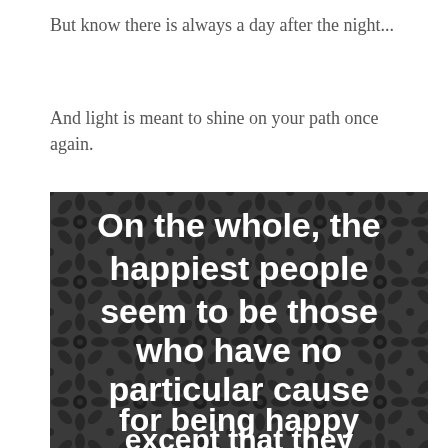But know there is always a day after the night...
And light is meant to shine on your path once again.
[Figure (illustration): Decorative dark patterned background (black and grey floral damask) with large bold white text reading: 'On the whole, the happiest people seem to be those who have no particular cause for being happy except that they']